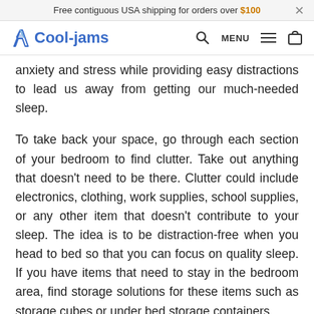Free contiguous USA shipping for orders over $100  ×
Cool-jams  [logo] Q  MENU  [menu icon]  [cart icon]
anxiety and stress while providing easy distractions to lead us away from getting our much-needed sleep.
To take back your space, go through each section of your bedroom to find clutter. Take out anything that doesn't need to be there. Clutter could include electronics, clothing, work supplies, school supplies, or any other item that doesn't contribute to your sleep. The idea is to be distraction-free when you head to bed so that you can focus on quality sleep. If you have items that need to stay in the bedroom area, find storage solutions for these items such as storage cubes or under bed storage containers.
2. Buy Cooling Bedding